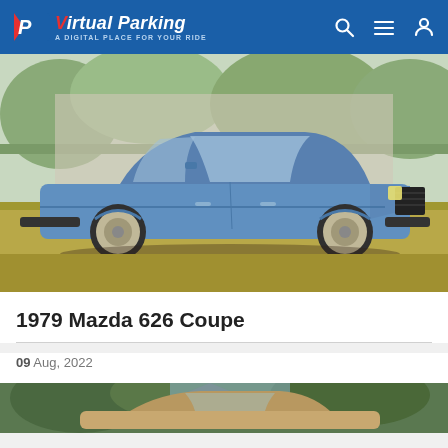Virtual Parking — A DIGITAL PLACE FOR YOUR RIDE
[Figure (photo): 1979 Mazda 626 Coupe in blue, parked on grass with trees in background]
1979 Mazda 626 Coupe
09 Aug, 2022
[Figure (photo): Partial view of another classic car parked in front of trees]